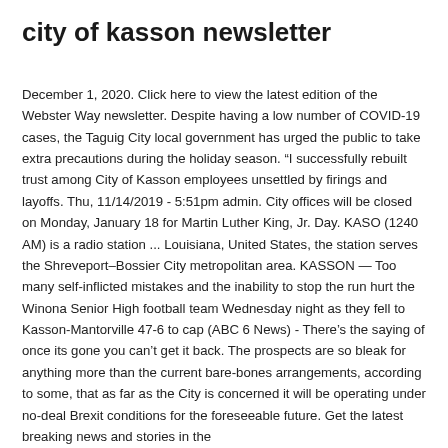city of kasson newsletter
December 1, 2020. Click here to view the latest edition of the Webster Way newsletter. Despite having a low number of COVID-19 cases, the Taguig City local government has urged the public to take extra precautions during the holiday season. “I successfully rebuilt trust among City of Kasson employees unsettled by firings and layoffs. Thu, 11/14/2019 - 5:51pm admin. City offices will be closed on Monday, January 18 for Martin Luther King, Jr. Day. KASO (1240 AM) is a radio station ... Louisiana, United States, the station serves the Shreveport–Bossier City metropolitan area. KASSON — Too many self-inflicted mistakes and the inability to stop the run hurt the Winona Senior High football team Wednesday night as they fell to Kasson-Mantorville 47-6 to cap (ABC 6 News) - There’s the saying of once its gone you can’t get it back. The prospects are so bleak for anything more than the current bare-bones arrangements, according to some, that as far as the City is concerned it will be operating under no-deal Brexit conditions for the foreseeable future. Get the latest breaking news and stories in the